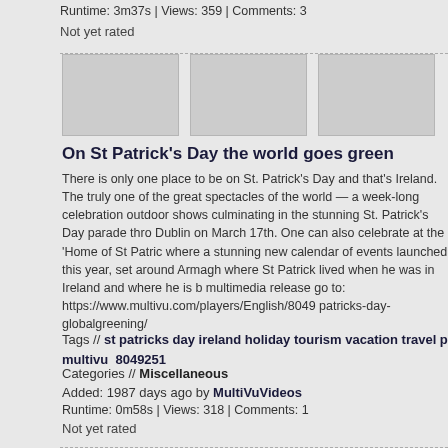Runtime: 3m37s | Views: 359 | Comments: 3
Not yet rated
[Figure (photo): Three gray placeholder thumbnail images in a row]
On St Patrick's Day the world goes green
There is only one place to be on St. Patrick's Day and that's Ireland. The truly one of the great spectacles of the world — a week-long celebration outdoor shows culminating in the stunning St. Patrick's Day parade thro Dublin on March 17th. One can also celebrate at the 'Home of St Patric where a stunning new calendar of events launched this year, set around Armagh where St Patrick lived when he was in Ireland and where he is b multimedia release go to: https://www.multivu.com/players/English/8049 patricks-day-globalgreening/
Tags // st patricks day ireland holiday tourism vacation travel p multivu 8049251
Categories // Miscellaneous
Added: 1987 days ago by MultiVuVideos
Runtime: 0m58s | Views: 318 | Comments: 1
Not yet rated
[Figure (photo): Three gray placeholder thumbnail images in a row at the bottom]